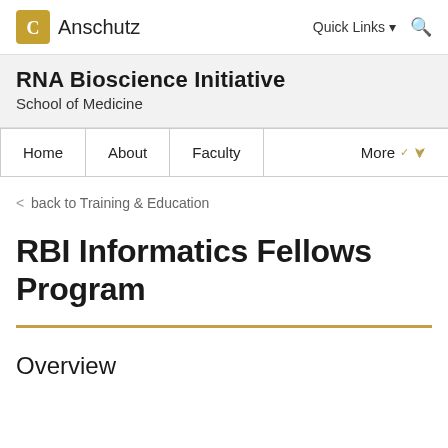CU Anschutz | Quick Links | Search
RNA Bioscience Initiative
School of Medicine
Home | About | Faculty | More
< back to Training & Education
RBI Informatics Fellows Program
Overview